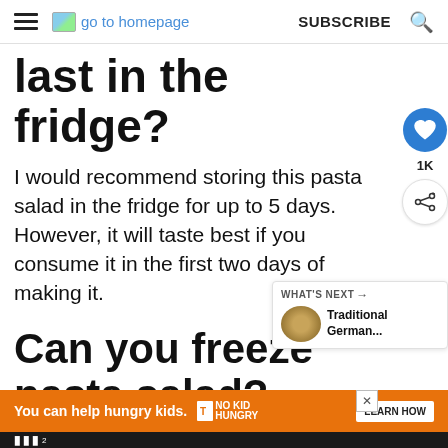go to homepage  SUBSCRIBE
last in the fridge?
I would recommend storing this pasta salad in the fridge for up to 5 days. However, it will taste best if you consume it in the first two days of making it.
Can you freeze pasta salad?
[Figure (other): WHAT'S NEXT panel with Traditional German... thumbnail]
[Figure (other): Advertisement bar: You can help hungry kids. No Kid Hungry. LEARN HOW button.]